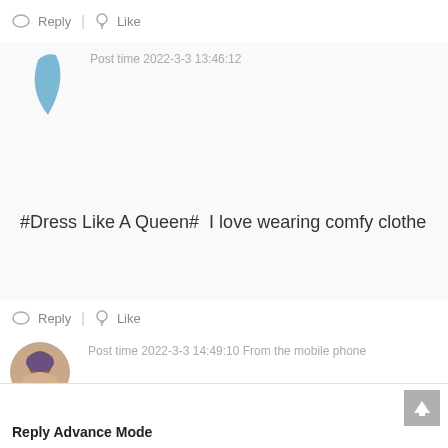Reply  |  Like
Post time 2022-3-3 13:46:12
#Dress Like A Queen#  I love wearing comfy clothe
Reply  |  Like
Post time 2022-3-3 14:49:10 From the mobile phone
#dress like a queen# love Superbuy!!
Reply Advance Mode